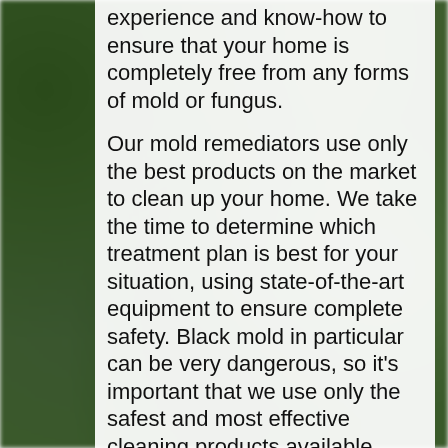experience and know-how to ensure that your home is completely free from any forms of mold or fungus.
Our mold remediators use only the best products on the market to clean up your home. We take the time to determine which treatment plan is best for your situation, using state-of-the-art equipment to ensure complete safety. Black mold in particular can be very dangerous, so it's important that we use only the safest and most effective cleaning products available.
Give us a call today for Mold Remediation and find out how our expert services can help you and your family. We service the greater Wenatchee Washington area.